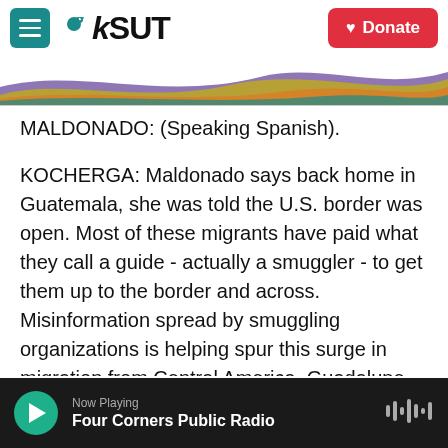[Figure (screenshot): KSUT public radio website header with teal menu button, KSUT logo with bird icon, red Donate button, and colorful rainbow wave graphic]
MALDONADO: (Speaking Spanish).
KOCHERGA: Maldonado says back home in Guatemala, she was told the U.S. border was open. Most of these migrants have paid what they call a guide - actually a smuggler - to get them up to the border and across. Misinformation spread by smuggling organizations is helping spur this surge in migration from Central America. Guadalupe Correa-Cabrera is an expert on organized crime and immigration at George Mason University. She says smuggling networks are reassuring people...
Now Playing — Four Corners Public Radio